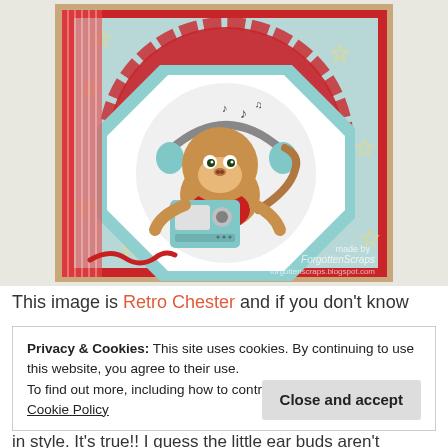[Figure (photo): A handmade craft card featuring a cartoon monkey with headphones and a boombox/cassette player, set on a red and light blue star-patterned background with layered decorative papers. Watermark reads 'made by ForgottenScraps forgottenscraps.blogspot.com']
This image is Retro Chester and if you don't know
Privacy & Cookies: This site uses cookies. By continuing to use this website, you agree to their use.
To find out more, including how to control cookies, see here: Cookie Policy
Close and accept
in style. It's true!! I guess the little ear buds aren't